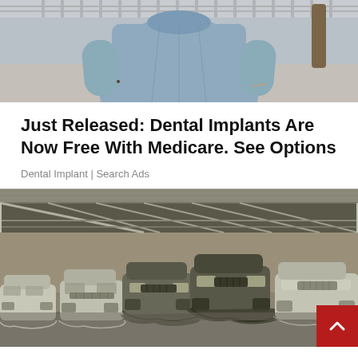[Figure (photo): Photo of a person (torso visible) wearing a light blue-gray fitted uniform/scrubs, standing on a sidewalk with a fence and tree in the background.]
Just Released: Dental Implants Are Now Free With Medicare. See Options
Dental Implant | Search Ads
[Figure (photo): Photo of a large indoor garage or warehouse with multiple SUVs/trucks partially covered with gray covers, lined up in a row under a steel truss roof structure.]